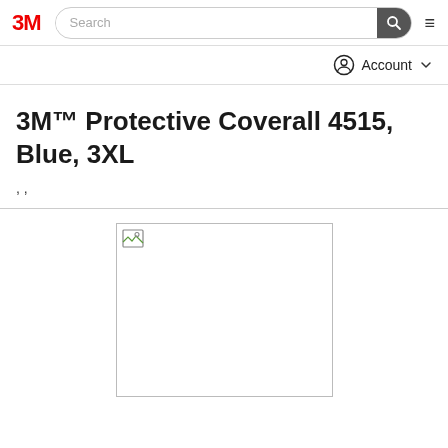3M | Search | Account
3M™ Protective Coverall 4515, Blue, 3XL
, ,
[Figure (photo): Product image placeholder (broken image icon) for 3M Protective Coverall 4515, Blue, 3XL]